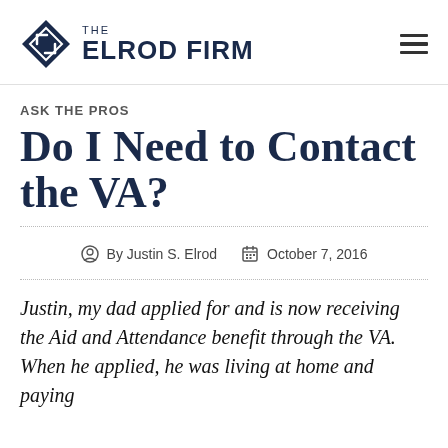THE ELROD FIRM
ASK THE PROS
Do I Need to Contact the VA?
By Justin S. Elrod   October 7, 2016
Justin, my dad applied for and is now receiving the Aid and Attendance benefit through the VA. When he applied, he was living at home and paying